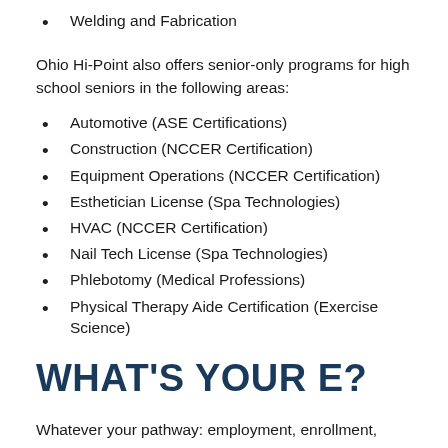Welding and Fabrication
Ohio Hi-Point also offers senior-only programs for high school seniors in the following areas:
Automotive (ASE Certifications)
Construction (NCCER Certification)
Equipment Operations (NCCER Certification)
Esthetician License (Spa Technologies)
HVAC (NCCER Certification)
Nail Tech License (Spa Technologies)
Phlebotomy (Medical Professions)
Physical Therapy Aide Certification (Exercise Science)
WHAT'S YOUR E?
Whatever your pathway: employment, enrollment,